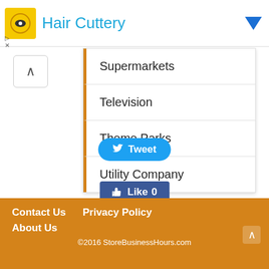Hair Cuttery
Supermarkets
Television
Theme Parks
Utility Company
Tweet
Like 0
Save
Contact Us  Privacy Policy  About Us  ©2016 StoreBusinessHours.com